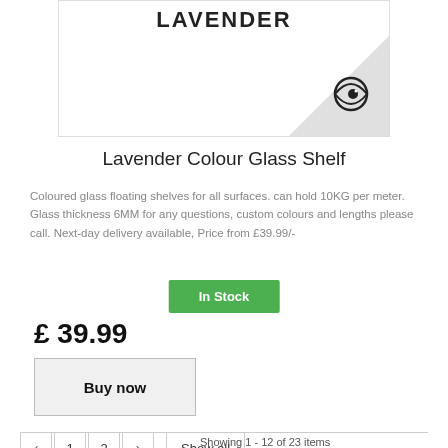[Figure (photo): Product image of Lavender Colour Glass Shelf showing the word LAVENDER in bold with a decorative eye logo in lower right corner on a light grey background]
Lavender Colour Glass Shelf
Coloured glass floating shelves for all surfaces. can hold 10KG per meter. Glass thickness 6MM for any questions, custom colours and lengths please call. Next-day delivery available, Price from £39.99/-
In Stock
£ 39.99
Buy now
Showing 1 - 12 of 23 items